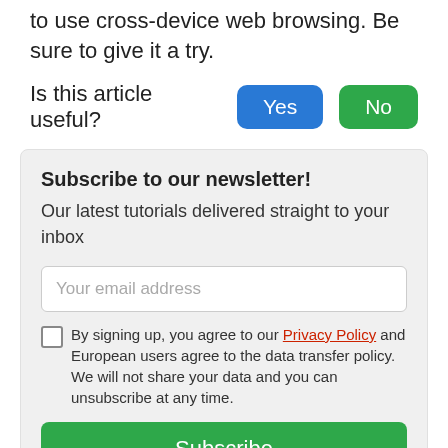to use cross-device web browsing. Be sure to give it a try.
Is this article useful?
Yes
No
Subscribe to our newsletter!
Our latest tutorials delivered straight to your inbox
Your email address
By signing up, you agree to our Privacy Policy and European users agree to the data transfer policy. We will not share your data and you can unsubscribe at any time.
Subscribe